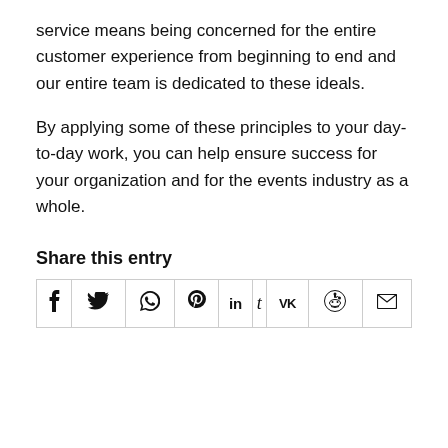service means being concerned for the entire customer experience from beginning to end and our entire team is dedicated to these ideals.
By applying some of these principles to your day-to-day work, you can help ensure success for your organization and for the events industry as a whole.
Share this entry
| f | 𝕪 | © | ℗ | in | t | VK | reddit | ✉ |